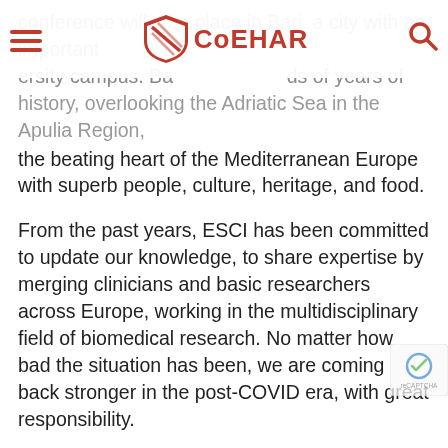CoEHAR
conference will take place in Bari, a city with an important university campus. Bari has thousands of years of history, overlooking the Adriatic Sea in the Apulia Region, the beating heart of the Mediterranean Europe with superb people, culture, heritage, and food.
From the past years, ESCI has been committed to update our knowledge, to share expertise by merging clinicians and basic researchers across Europe, working in the multidisciplinary field of biomedical research. No matter how bad the situation has been, we are coming back stronger in the post-COVID era, with great responsibility.
The congress will focus on “BRIDGING GAPS BETWEEN AGING, TRANSLATIONAL, AND TRANSITIONAL RESEARCH” hosting top speakers, sound research groups, merging basic, translational and clinical research, organizing symposia and pre-meeting